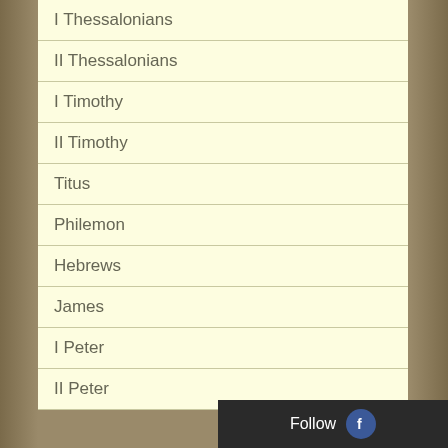I Thessalonians
II Thessalonians
I Timothy
II Timothy
Titus
Philemon
Hebrews
James
I Peter
II Peter
I John
II John